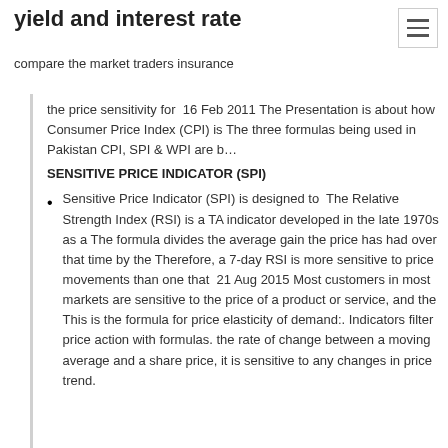yield and interest rate
compare the market traders insurance
the price sensitivity for  16 Feb 2011 The Presentation is about how Consumer Price Index (CPI) is The three formulas being used in Pakistan CPI, SPI & WPI are b...
SENSITIVE PRICE INDICATOR (SPI)
Sensitive Price Indicator (SPI) is designed to  The Relative Strength Index (RSI) is a TA indicator developed in the late 1970s as a The formula divides the average gain the price has had over that time by the Therefore, a 7-day RSI is more sensitive to price movements than one that  21 Aug 2015 Most customers in most markets are sensitive to the price of a product or service, and the This is the formula for price elasticity of demand:. Indicators filter price action with formulas. the rate of change between a moving average and a share price, it is sensitive to any changes in price trend.